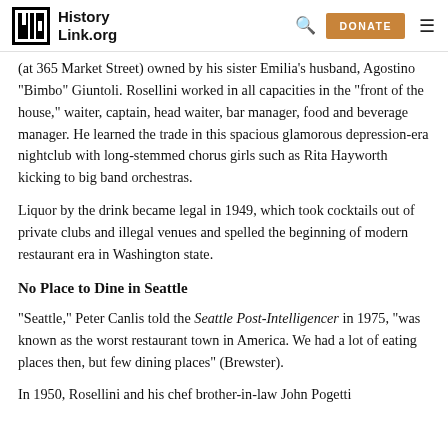HistoryLink.org | DONATE
(at 365 Market Street) owned by his sister Emilia's husband, Agostino "Bimbo" Giuntoli. Rosellini worked in all capacities in the "front of the house," waiter, captain, head waiter, bar manager, food and beverage manager. He learned the trade in this spacious glamorous depression-era nightclub with long-stemmed chorus girls such as Rita Hayworth kicking to big band orchestras.
Liquor by the drink became legal in 1949, which took cocktails out of private clubs and illegal venues and spelled the beginning of modern restaurant era in Washington state.
No Place to Dine in Seattle
"Seattle," Peter Canlis told the Seattle Post-Intelligencer in 1975, "was known as the worst restaurant town in America. We had a lot of eating places then, but few dining places" (Brewster).
In 1950, Rosellini and his chef brother-in-law John Pogetti